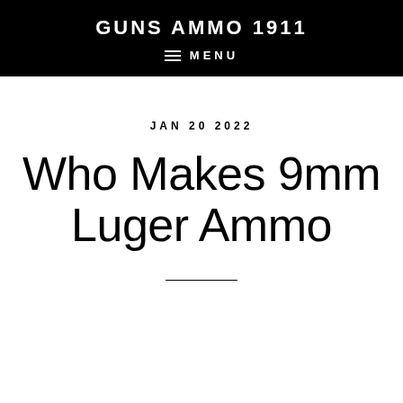GUNS AMMO 1911
≡ MENU
JAN 20 2022
Who Makes 9mm Luger Ammo